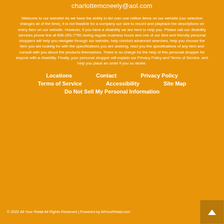charlottemcneely@aol.com
Welcome to our website! As we have the ability to list over one million items on our website (our selection changes all of the time), it is not feasible for a company our size to record and playback the descriptions on every item on our website. However, if you have a disability we are here to help you. Please call our disability services phone line at 806-293-7750 during regular business hours and one of our kind and friendly personal shoppers will help you navigate through our website, help conduct advanced searches, help you choose the item you are looking for with the specifications you are seeking, read you the specifications of any item and consult with you about the products themselves. There is no charge for the help of this personal shopper for anyone with a disability. Finally, your personal shopper will explain our Privacy Policy and Terms of Service, and help you place an order if you so desire.
Locations
Contact
Privacy Policy
Terms of Service
Accessibility
Site Map
Do Not Sell My Personal Information
© 2022 All Your Retail All Rights Reserved | Powered by AllYourRetail.com